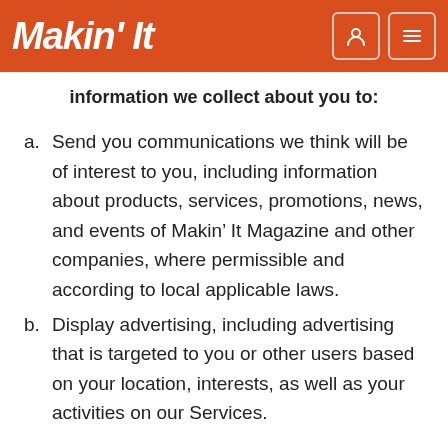Makin' It
information we collect about you to:
a. Send you communications we think will be of interest to you, including information about products, services, promotions, news, and events of Makin’ It Magazine and other companies, where permissible and according to local applicable laws.
b. Display advertising, including advertising that is targeted to you or other users based on your location, interests, as well as your activities on our Services.